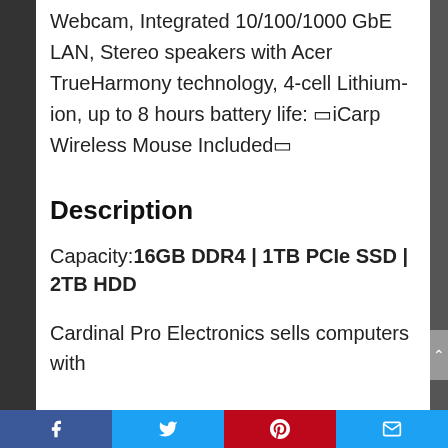Webcam, Integrated 10/100/1000 GbE LAN, Stereo speakers with Acer TrueHarmony technology, 4-cell Lithium-ion, up to 8 hours battery life: 🔲iCarp Wireless Mouse Included🔲
Description
Capacity: 16GB DDR4 | 1TB PCIe SSD | 2TB HDD
Cardinal Pro Electronics sells computers with